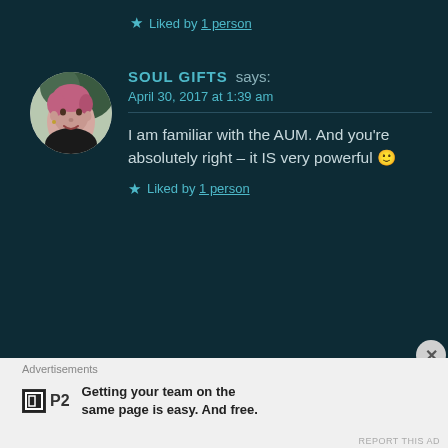urge to know oneself..
★ Liked by 1 person
SOUL GIFTS says:
April 30, 2017 at 1:39 am
I am familiar with the AUM. And you're absolutely right – it IS very powerful 🙂
★ Liked by 1 person
Advertisements
Getting your team on the same page is easy. And free.